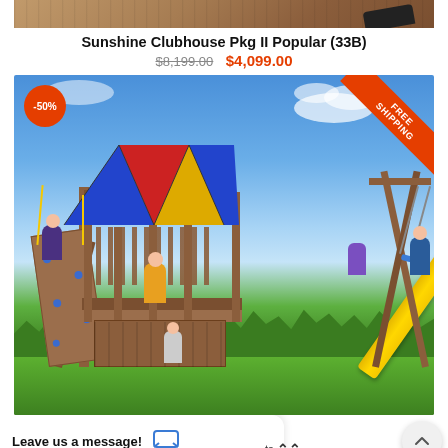[Figure (photo): Partial top view of wooden playground set, cropped at top of page]
Sunshine Clubhouse Pkg II Popular (33B)
$8,199.00  $4,099.00
[Figure (photo): Outdoor wooden playground/swing set with colorful canopy, yellow slide, rock climbing wall, swings, and multiple children playing. -50% discount badge on top left, FREE SHIPPING ribbon on top right corner.]
Leave us a message!
ts (expand) | el (33A)